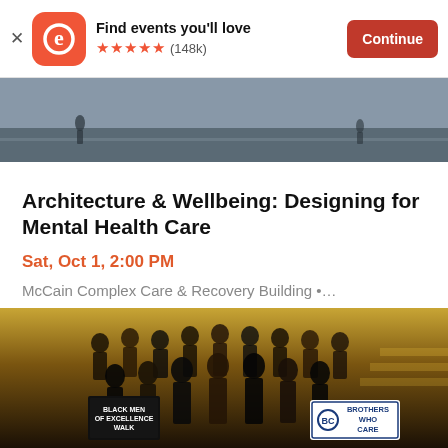[Figure (screenshot): Eventbrite app banner with logo, 'Find events you'll love', five orange stars, (148k) reviews, and orange Continue button]
[Figure (photo): Urban street scene photo banner at top of event listing]
Architecture & Wellbeing: Designing for Mental Health Care
Sat, Oct 1, 2:00 PM
McCain Complex Care & Recovery Building •…
[Figure (photo): Group photo of men in formal attire with signs reading 'Black Men of Excellence Walk' and 'Brothers Who Care']